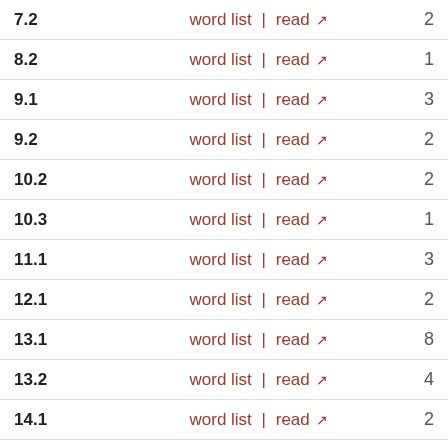| Section | Links | Count |
| --- | --- | --- |
| 7.2 | word list | read | 2 |
| 8.2 | word list | read | 1 |
| 9.1 | word list | read | 3 |
| 9.2 | word list | read | 2 |
| 10.2 | word list | read | 2 |
| 10.3 | word list | read | 1 |
| 11.1 | word list | read | 3 |
| 12.1 | word list | read | 2 |
| 13.1 | word list | read | 8 |
| 13.2 | word list | read | 4 |
| 14.1 | word list | read | 2 |
| 15.1 | word list | read | 3 |
| praef.1 | word list | read | 3 |